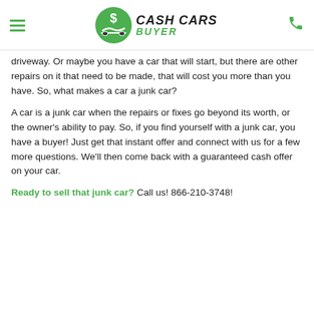Cash Cars Buyer
driveway. Or maybe you have a car that will start, but there are other repairs on it that need to be made, that will cost you more than you have. So, what makes a car a junk car?
A car is a junk car when the repairs or fixes go beyond its worth, or the owner’s ability to pay. So, if you find yourself with a junk car, you have a buyer! Just get that instant offer and connect with us for a few more questions. We’ll then come back with a guaranteed cash offer on your car.
Ready to sell that junk car? Call us! 866-210-3748!